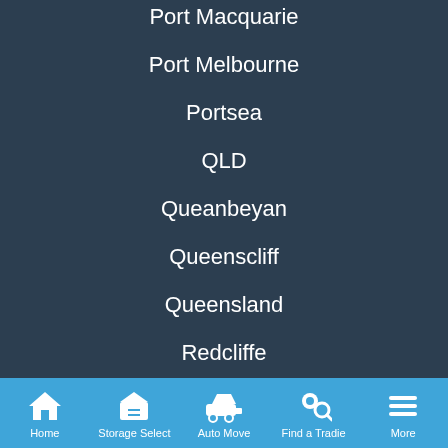Port Macquarie
Port Melbourne
Portsea
QLD
Queanbeyan
Queenscliff
Queensland
Redcliffe
Rockhampton
Rockingham
Rosebud
Home  Storage Select  Auto Move  Find a Tradie  More